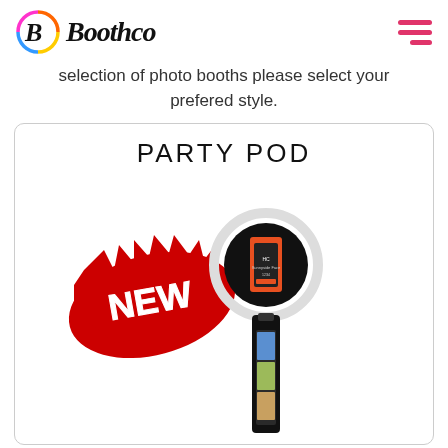[Figure (logo): Boothco logo with colorful circular icon and italic script text 'Boothco']
selection of photo booths please select your prefered style.
PARTY POD
[Figure (photo): Photo booth product image: a tall black pole with a ring light and tablet camera at top. A red splash badge with white text 'NEW' is overlaid on the left. The pole shows a strip of photos on a screen.]